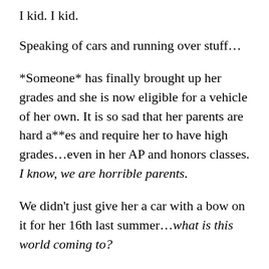I kid. I kid.
Speaking of cars and running over stuff…
*Someone* has finally brought up her grades and she is now eligible for a vehicle of her own. It is so sad that her parents are hard a**es and require her to have high grades…even in her AP and honors classes. I know, we are horrible parents.
We didn't just give her a car with a bow on it for her 16th last summer…what is this world coming to?